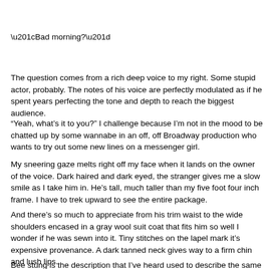“Bad morning?”
The question comes from a rich deep voice to my right. Some stupid actor, probably. The notes of his voice are perfectly modulated as if he spent years perfecting the tone and depth to reach the biggest audience.
“Yeah, what’s it to you?” I challenge because I’m not in the mood to be chatted up by some wannabe in an off, off Broadway production who wants to try out some new lines on a messenger girl.
My sneering gaze melts right off my face when it lands on the owner of the voice. Dark haired and dark eyed, the stranger gives me a slow smile as I take him in. He’s tall, much taller than my five foot four inch frame. I have to trek upward to see the entire package.
And there’s so much to appreciate from his trim waist to the wide shoulders encased in a gray wool suit coat that fits him so well I wonder if he was sewn into it. Tiny stitches on the lapel mark it’s expensive provenance. A dark tanned neck gives way to a firm chin and lush lips.
Bee stung is the description that I’ve heard used to describe the same look on super models. Those lips are about the only soft thing on his face. Those lips and a hollow on the side of his face that appears when those